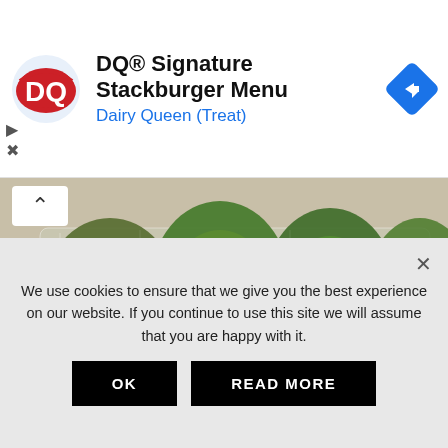[Figure (screenshot): Dairy Queen advertisement banner with DQ logo on left, text 'DQ® Signature Stackburger Menu' and 'Dairy Queen (Treat)' in center, navigation arrow icon on right]
[Figure (photo): Photo of sliced avocados in a clear plastic bag, showing green avocado halves from above]
HOW TO FREEZE AVOCADOS SO THAT YOU ALWAYS HAVE FRESH ON HAND
We use cookies to ensure that we give you the best experience on our website. If you continue to use this site we will assume that you are happy with it.